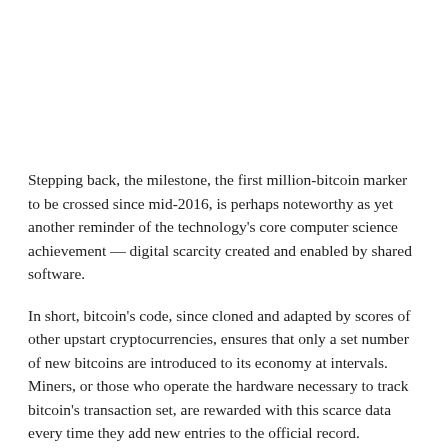Stepping back, the milestone, the first million-bitcoin marker to be crossed since mid-2016, is perhaps noteworthy as yet another reminder of the technology's core computer science achievement — digital scarcity created and enabled by shared software.
In short, bitcoin's code, since cloned and adapted by scores of other upstart cryptocurrencies, ensures that only a set number of new bitcoins are introduced to its economy at intervals. Miners, or those who operate the hardware necessary to track bitcoin's transaction set, are rewarded with this scarce data every time they add new entries to the official record.